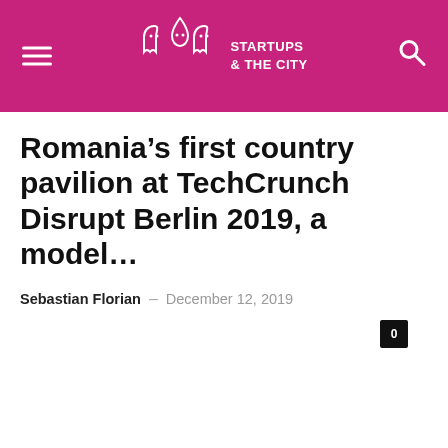STARTUPS & THE CITY
Romania’s first country pavilion at TechCrunch Disrupt Berlin 2019, a model...
Sebastian Florian – December 12, 2019